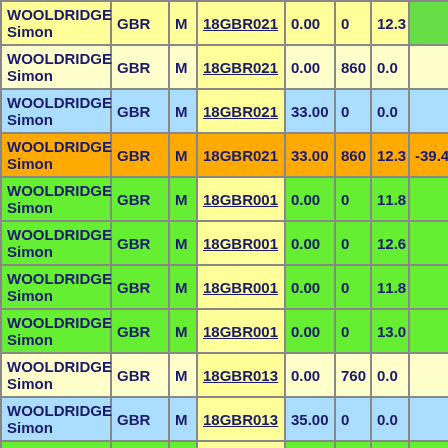| Name | Nat | Gen | ID | V1 | V2 | V3 | V4 |
| --- | --- | --- | --- | --- | --- | --- | --- |
| WOOLDRIDGE Simon | GBR | M | 18GBR021 | 0.00 | 0 | 12.3 |  |
| WOOLDRIDGE Simon | GBR | M | 18GBR021 | 0.00 | 860 | 0.0 |  |
| WOOLDRIDGE Simon | GBR | M | 18GBR021 | 33.00 | 0 | 0.0 |  |
| WOOLDRIDGE Simon | GBR | M | 18GBR021 | 33.00 | 860 | 12.3 | -39.43 |
| WOOLDRIDGE Simon | GBR | M | 18GBR001 | 0.00 | 0 | 11.8 |  |
| WOOLDRIDGE Simon | GBR | M | 18GBR001 | 0.00 | 0 | 12.6 |  |
| WOOLDRIDGE Simon | GBR | M | 18GBR001 | 0.00 | 0 | 11.8 |  |
| WOOLDRIDGE Simon | GBR | M | 18GBR001 | 0.00 | 0 | 13.0 |  |
| WOOLDRIDGE Simon | GBR | M | 18GBR013 | 0.00 | 760 | 0.0 |  |
| WOOLDRIDGE Simon | GBR | M | 18GBR013 | 35.00 | 0 | 0.0 |  |
|  |  |  |  |  |  |  |  |